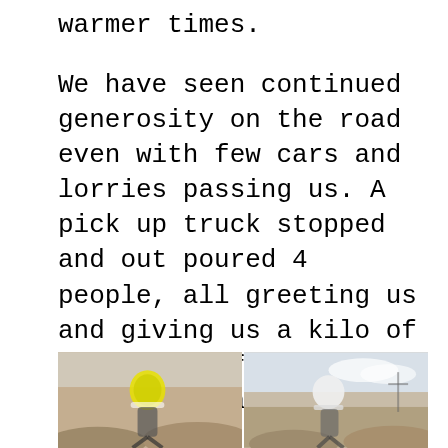warmer times.
We have seen continued generosity on the road even with few cars and lorries passing us. A pick up truck stopped and out poured 4 people, all greeting us and giving us a kilo of apples and fresh tandiri bread (our favourite). The next day we saw the same truck and driver who this time brought out his vodka and at 10.30am we where drinking to health.
[Figure (photo): Two side-by-side photos of cyclists on a rocky/dusty road. Left photo shows a cyclist wearing a yellow and white helmet. Right photo shows another cyclist with a white helmet. Rocky hillside terrain visible in background.]